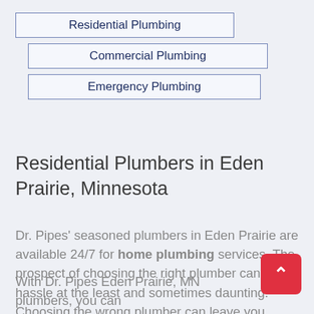Residential Plumbing
Commercial Plumbing
Emergency Plumbing
Residential Plumbers in Eden Prairie, Minnesota
Dr. Pipes' seasoned plumbers in Eden Prairie are available 24/7 for home plumbing services. The prospect of choosing the right plumber can be a hassle at the least and sometimes daunting. Choosing the wrong plumber can leave you worse off than before you hired them.
With Dr. Pipes Eden Prairie, MN plumbers, you can